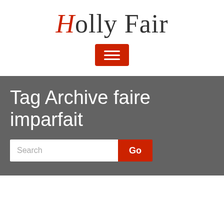Holly Fair
[Figure (other): Red hamburger menu button with three white horizontal lines]
Tag Archive faire imparfait
[Figure (other): Search input field with Go button]